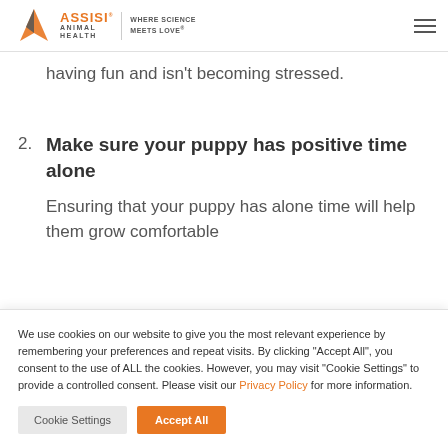ASSISI ANIMAL HEALTH | WHERE SCIENCE MEETS LOVE
having fun and isn't becoming stressed.
2. Make sure your puppy has positive time alone
Ensuring that your puppy has alone time will help them grow comfortable
We use cookies on our website to give you the most relevant experience by remembering your preferences and repeat visits. By clicking “Accept All”, you consent to the use of ALL the cookies. However, you may visit “Cookie Settings” to provide a controlled consent. Please visit our Privacy Policy for more information.